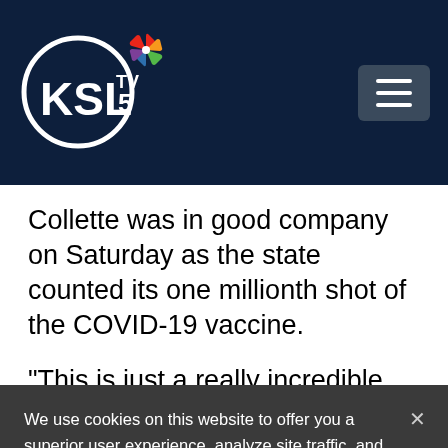[Figure (logo): KSL TV 5 NBC affiliate logo on dark navy header with hamburger menu button]
Collette was in good company on Saturday as the state counted its one millionth shot of the COVID-19 vaccine.
“This is just a really incredible milestone,
We use cookies on this website to offer you a superior user experience, analyze site traffic, and personalize content and advertisements. By continuing to use our site, you consent to our use of cookies. Please visit our Privacy Policy for more information.
Accept Cookies